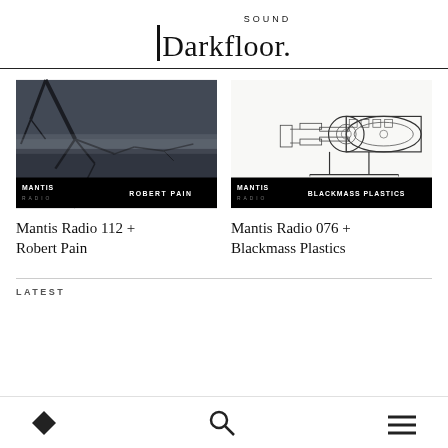Darkfloor Sound
[Figure (photo): Mantis Radio 112 + Robert Pain – dark atmospheric photo of bare tree branches over water, with black overlay banner reading MANTIS RADIO / ROBERT PAIN]
Mantis Radio 112 + Robert Pain
[Figure (illustration): Mantis Radio 076 + Blackmass Plastics – detailed technical/engineering line drawing illustration of industrial machinery, with black overlay banner reading MANTIS RADIO / BLACKMASS PLASTICS]
Mantis Radio 076 + Blackmass Plastics
LATEST